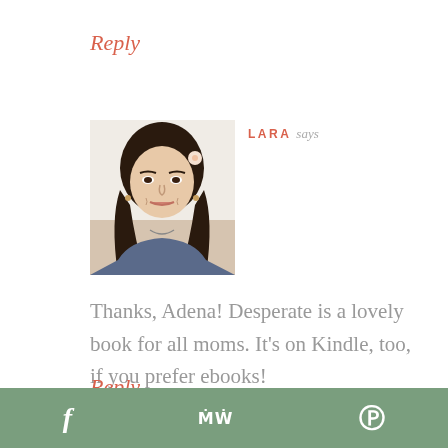Reply
LARA says
[Figure (photo): Portrait photo of a young woman with long dark hair, wearing a floral top, smiling slightly, photographed indoors.]
Thanks, Adena! Desperate is a lovely book for all moms. It's on Kindle, too, if you prefer ebooks!
Reply
f  MW  P